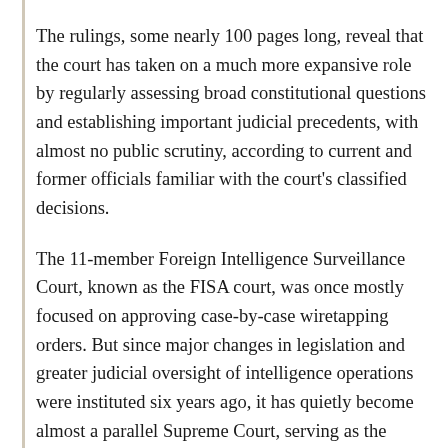The rulings, some nearly 100 pages long, reveal that the court has taken on a much more expansive role by regularly assessing broad constitutional questions and establishing important judicial precedents, with almost no public scrutiny, according to current and former officials familiar with the court’s classified decisions.
The 11-member Foreign Intelligence Surveillance Court, known as the FISA court, was once mostly focused on approving case-by-case wiretapping orders. But since major changes in legislation and greater judicial oversight of intelligence operations were instituted six years ago, it has quietly become almost a parallel Supreme Court, serving as the ultimate arbiter on surveillance issues and delivering opinions that will most likely shape intelligence practices for years to come, the officials said.